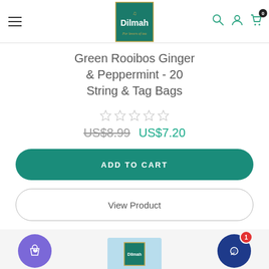Dilmah - For lovers of tea
Green Rooibos Ginger & Peppermint - 20 String & Tag Bags
☆☆☆☆☆
US$8.99 US$7.20
ADD TO CART
View Product
[Figure (screenshot): Bottom bar with purple shopping bag icon with heart, Dilmah product box image, and dark blue chat bubble icon with red badge showing 1]